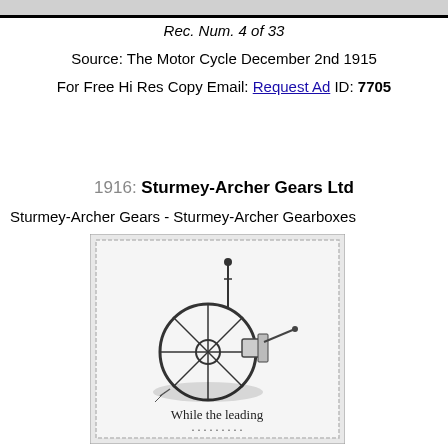Rec. Num. 4 of 33
Source: The Motor Cycle December 2nd 1915
For Free Hi Res Copy Email: Request Ad ID: 7705
1916: Sturmey-Archer Gears Ltd
Sturmey-Archer Gears - Sturmey-Archer Gearboxes
[Figure (illustration): Vintage advertisement illustration showing a Sturmey-Archer gearbox/gear mechanism with a wheel and control lever, with text 'While the leading' visible at the bottom of the image. The image has a decorative border.]